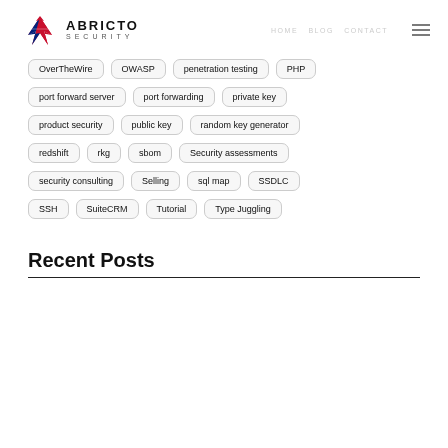ABRICTO SECURITY
OverTheWire
OWASP
penetration testing
PHP
port forward server
port forwarding
private key
product security
public key
random key generator
redshift
rkg
sbom
Security assessments
security consulting
Selling
sql map
SSDLC
SSH
SuiteCRM
Tutorial
Type Juggling
Recent Posts